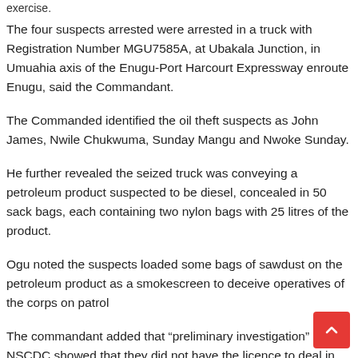exercise.
The four suspects arrested were arrested in a truck with Registration Number MGU7585A, at Ubakala Junction, in Umuahia axis of the Enugu-Port Harcourt Expressway enroute Enugu, said the Commandant.
The Commanded identified the oil theft suspects as John James, Nwile Chukwuma, Sunday Mangu and Nwoke Sunday.
He further revealed the seized truck was conveying a petroleum product suspected to be diesel, concealed in 50 sack bags, each containing two nylon bags with 25 litres of the product.
Ogu noted the suspects loaded some bags of sawdust on the petroleum product as a smokescreen to deceive operatives of the corps on patrol
The commandant added that “preliminary investigation” by the NSCDC showed that they did not have the licence to deal in petroleum products in the country.